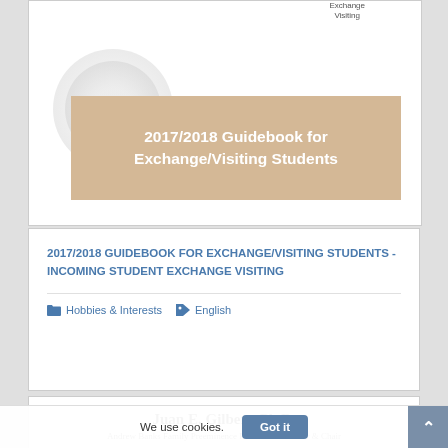[Figure (illustration): Cover image of 2017/2018 Guidebook for Exchange/Visiting Students — shows a circular logo/watermark with stylized flower shape on a tan/beige banner overlay with white bold text reading '2017/2018 Guidebook for Exchange/Visiting Students']
2017/2018 GUIDEBOOK FOR EXCHANGE/VISITING STUDENTS - INCOMING STUDENT EXCHANGE VISITING
Hobbies & Interests   English
[Figure (photo): Partial view of Juan E. Gilbert, Ph.D. profile card showing name and title: Andrew Banks Family Preeminence Endowed Professor & Chair]
We use cookies.